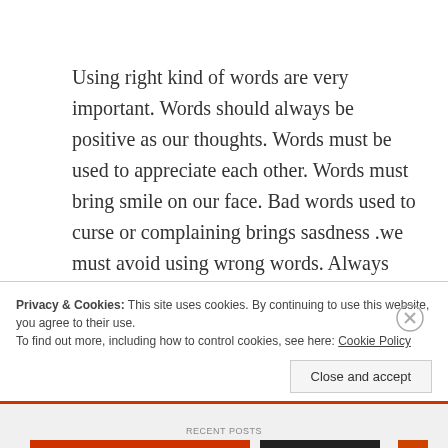Using right kind of words are very important. Words should always be positive as our thoughts. Words must be used to appreciate each other. Words must bring smile on our face. Bad words used to curse or complaining brings sasdness .we must avoid using wrong words. Always appreciate others. Approve and motivate others. This all is added in our karmic account.
Privacy & Cookies: This site uses cookies. By continuing to use this website, you agree to their use.
To find out more, including how to control cookies, see here: Cookie Policy
Close and accept